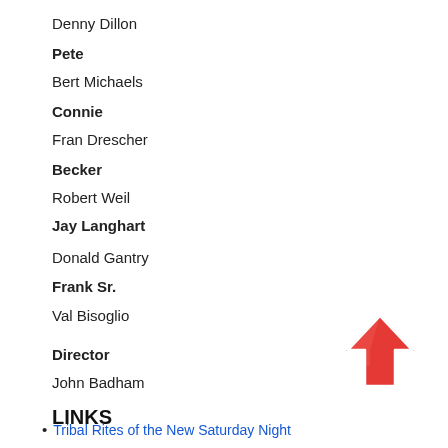Denny Dillon
Pete
Bert Michaels
Connie
Fran Drescher
Becker
Robert Weil
Jay Langhart
Donald Gantry
Frank Sr.
Val Bisoglio
Director
John Badham
LINKS
[Figure (illustration): Red upward-pointing arrow icon]
Tribal Rites of the New Saturday Night